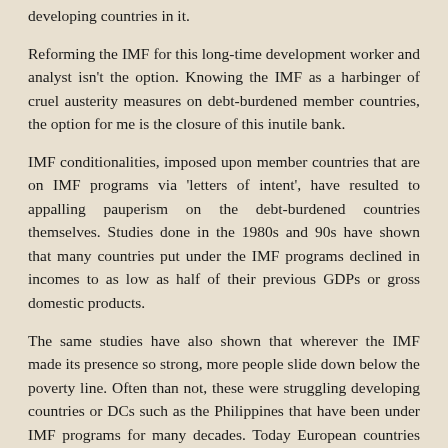developing countries in it.
Reforming the IMF for this long-time development worker and analyst isn't the option. Knowing the IMF as a harbinger of cruel austerity measures on debt-burdened member countries, the option for me is the closure of this inutile bank.
IMF conditionalities, imposed upon member countries that are on IMF programs via 'letters of intent', have resulted to appalling pauperism on the debt-burdened countries themselves. Studies done in the 1980s and 90s have shown that many countries put under the IMF programs declined in incomes to as low as half of their previous GDPs or gross domestic products.
The same studies have also shown that wherever the IMF made its presence so strong, more people slide down below the poverty line. Often than not, these were struggling developing countries or DCs such as the Philippines that have been under IMF programs for many decades. Today European countries such as Greece are among the IMF guinea pigs for austerity, and already wages were slashed by 30% as part of the austerity measures.
The IMF, in reality, is an ensurer for the stakes of global financiers